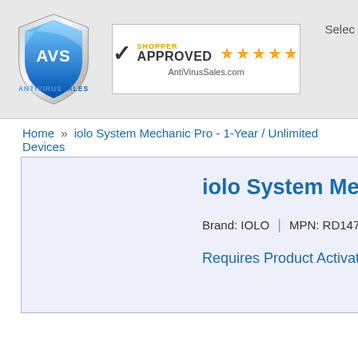[Figure (logo): AVS AntiVirusSales shield logo with blue gradient and 'AVS' text, with 'ANTIVIRUSSALES' text below]
[Figure (logo): Shopper Approved badge with 5 orange stars and AntiVirusSales.com URL]
Selec
Home » iolo System Mechanic Pro - 1-Year / Unlimited Devices
iolo System Mechanic Pro -
Brand: IOLO | MPN: RD1470135 | Availab
Requires Product Activation (we sup